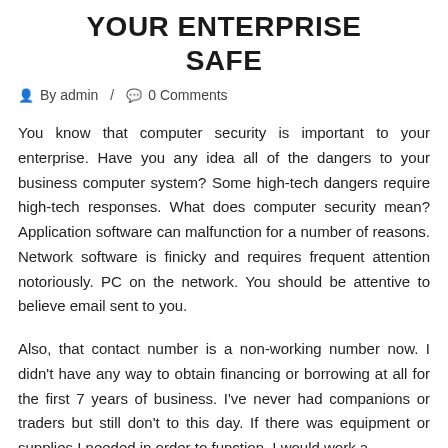YOUR ENTERPRISE Safe
By admin / 0 Comments
You know that computer security is important to your enterprise. Have you any idea all of the dangers to your business computer system? Some high-tech dangers require high-tech responses. What does computer security mean? Application software can malfunction for a number of reasons. Network software is finicky and requires frequent attention notoriously. PC on the network. You should be attentive to believe email sent to you.
Also, that contact number is a non-working number now. I didn't have any way to obtain financing or borrowing at all for the first 7 years of business. I've never had companions or traders but still don't to this day. If there was equipment or supplies I needed in order to function, I would work a